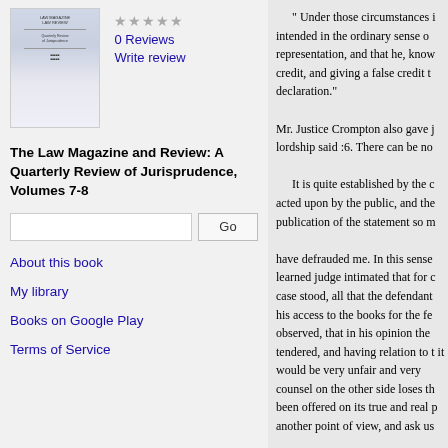[Figure (illustration): Book cover thumbnail for The Law Magazine and Review]
0 Reviews
Write review
The Law Magazine and Review: A Quarterly Review of Jurisprudence, Volumes 7-8
Go (search button)
About this book
My library
Books on Google Play
Terms of Service
" Under those circumstances i intended in the ordinary sense o representation, and that he, know credit, and giving a false credit t declaration."

Mr. Justice Crompton also gave j lordship said :6. There can be no

It is quite established by the c acted upon by the public, and the publication of the statement so m

have defrauded me. In this sense learned judge intimated that for c case stood, all that the defendant his access to the books for the fe observed, that in his opinion the tendered, and having relation to t it would be very unfair and very counsel on the other side loses th been offered on its true and real p another point of view, and ask us